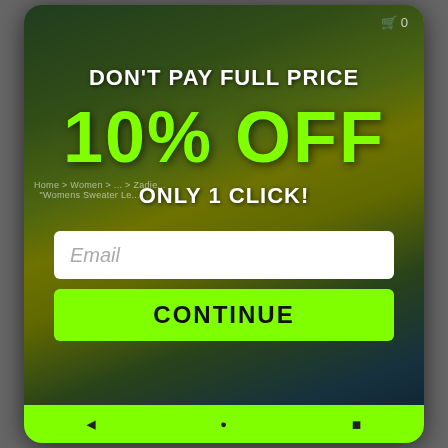[Figure (screenshot): Mobile website popup overlay on a streetwear/fashion e-commerce page showing two people in urban setting with graffiti background. Popup offers 10% off discount.]
DON'T PAY FULL PRICE
10% OFF
ONLY 1 CLICK!
Email
CONTINUE